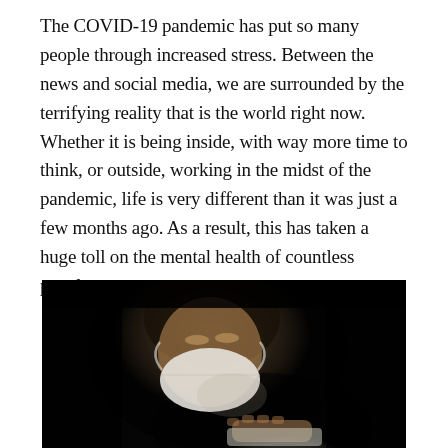The COVID-19 pandemic has put so many people through increased stress. Between the news and social media, we are surrounded by the terrifying reality that is the world right now. Whether it is being inside, with way more time to think, or outside, working in the midst of the pandemic, life is very different than it was just a few months ago. As a result, this has taken a huge toll on the mental health of countless people.
[Figure (photo): A person wearing a white face mask looks down at a glowing phone screen in a very dark room. The image is high contrast with a predominantly black background, the face and hands faintly illuminated by the phone screen.]